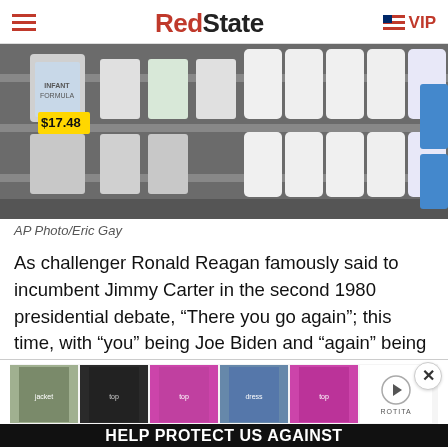RedState
[Figure (photo): Store shelf with infant formula products, price tag showing $17.48]
AP Photo/Eric Gay
As challenger Ronald Reagan famously said to incumbent Jimmy Carter in the second 1980 presidential debate, “There you go again”; this time, with “you” being Joe Biden and “again” being yet another self-created crisis by the most inept president in modern history, if not the history of the presidency itself.
[Figure (photo): Advertisement banner with clothing images and ROTITA branding, with text HELP PROTECT US AGAINST at bottom]